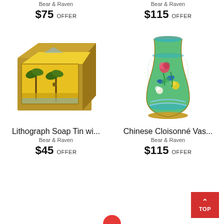Bear & Raven
$75 OFFER
Bear & Raven
$115 OFFER
[Figure (photo): Lithograph soap tin box with painted tropical scene, gold/brass colored metal]
[Figure (photo): Chinese Cloisonné vase with floral pattern on green background with blue and gold accents]
Lithograph Soap Tin wi...
Bear & Raven
$45 OFFER
Chinese Cloisonné Vas...
Bear & Raven
$115 OFFER